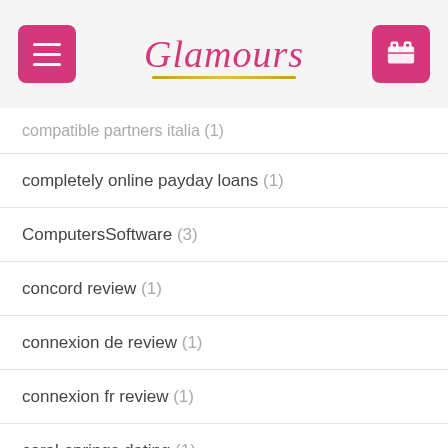Glamours
compatible partners italia (1)
completely online payday loans (1)
ComputersSoftware (3)
concord review (1)
connexion de review (1)
connexion fr review (1)
coral-springs dating (1)
coral-springs review (1)
Corpus Christi+TX+Texas browse around this web-site (1)
corpus-christi review (1)